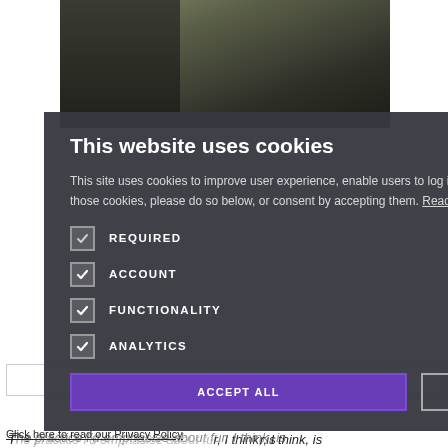[Figure (screenshot): Background photo of a person wearing a dark green/olive coat, partially visible behind the cookie consent overlay]
This website uses cookies
This site uses cookies to improve user experience, enable users to log in, and note behaviour. If you would like to remove any of those cookies, please do so below, or consent by accepting them. Read more
REQUIRED
ACCOUNT
FUNCTIONALITY
ANALYTICS
ACCEPT ALL   DECLINE ALL
Click here to read our Privacy Policy